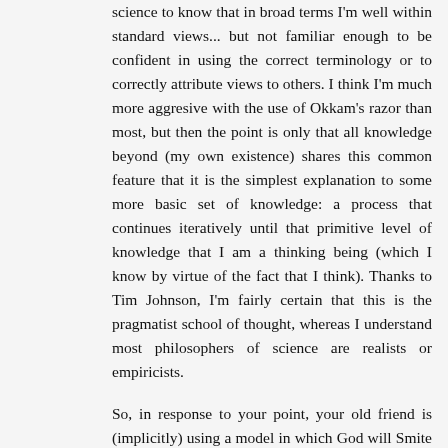science to know that in broad terms I'm well within standard views... but not familiar enough to be confident in using the correct terminology or to correctly attribute views to others. I think I'm much more aggresive with the use of Okkam's razor than most, but then the point is only that all knowledge beyond (my own existence) shares this common feature that it is the simplest explanation to some more basic set of knowledge: a process that continues iteratively until that primitive level of knowledge that I am a thinking being (which I know by virtue of the fact that I think). Thanks to Tim Johnson, I'm fairly certain that this is the pragmatist school of thought, whereas I understand most philosophers of science are realists or empiricists.
So, in response to your point, your old friend is (implicitly) using a model in which God will Smite those who deny Him to prove His existence (or something of that variety). The problem is that there is a spectrum of models for God (including, but not limited to nonexistence) which would also